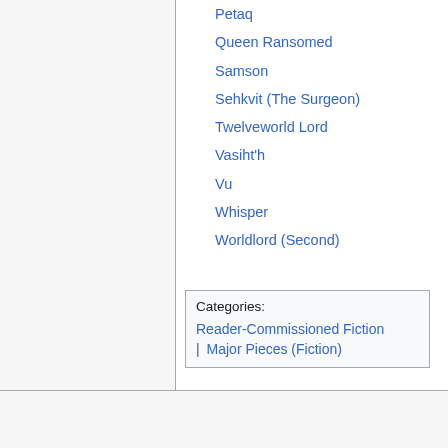Petaq
Queen Ransomed
Samson
Sehkvit (The Surgeon)
Twelveworld Lord
Vasiht'h
Vu
Whisper
Worldlord (Second)
Categories:
Reader-Commissioned Fiction
| Major Pieces (Fiction)
This page was last edited on 21 July 2022, at 13:09.
Privacy policy · About PeltedWiki · Disclaimers